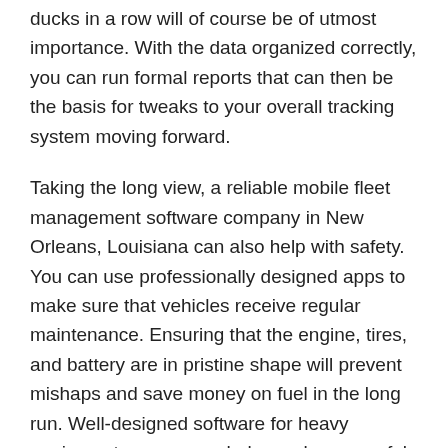ducks in a row will of course be of utmost importance. With the data organized correctly, you can run formal reports that can then be the basis for tweaks to your overall tracking system moving forward.
Taking the long view, a reliable mobile fleet management software company in New Orleans, Louisiana can also help with safety. You can use professionally designed apps to make sure that vehicles receive regular maintenance. Ensuring that the engine, tires, and battery are in pristine shape will prevent mishaps and save money on fuel in the long run. Well-designed software for heavy equipment owners can help you keep careful maintenance records so that you will know when certain trucks need to be serviced. All vehicles, of course, should be properly registered and insured when being used in any kind of capacity.